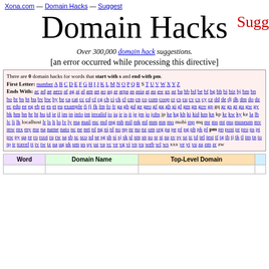Xona.com — Domain Hacks — Suggest
Domain Hacks Sugg…
Over 300,000 domain hack suggestions.
[an error occurred while processing this directive]
There are 0 domain hacks for words that start with s and end with pm.
First Letter: number A B C D E F G H I J K L M N O P Q R S T U V W X Y Z
Ends With: ac ad ae aero af ag ai al am an ao aq ar arpa as asia at au aw ax az ba bb bd be bf bg bh bi biz bj bm bn bo br bs bt bu bv bw by bz ca cat cc cd cf cg ch ci ck cl cm cn co com coop cr cs cu cv cx cy cz dd de dj dk dm do dz ec edu ee eg eh er es et eu example fi fj fk fm fo fr ga gb gd ge geo gf gg gh gi gl gm gn gov gp gq gr gs gt gu gw gy hk hm hn hr ht hu id ie il im in info int invalid io iq ir is it je jm jo jobs jp ke kg kh ki kid km kn kp kr kw ky kz la lb lc li lk localhost lr ls lt lu lv ly ma mail mc md mg mh mil mk ml mm mn mo mobi mp mq mr ms mt mu museum mv mw mx my mz na name nato nc ne net nf ng ni nl no np nr nu nz om org pa pe pf pg ph pk pl pm pn post pr pro ps pt pw py qa re ro root ru rw sa sb sc sco sd se sg sh si sj sk sl sm sn so sr st su sv sy sz tc td tel test tf tg th tj tk tl tm tn to tp tr travel tt tv tw tz ua ug uk um us uy uz va vc ve vg vi vn vu web wf ws xxx ye yt yu za zm zr zw
| Word | Domain Name | Top-Level Domain |  |
| --- | --- | --- | --- |